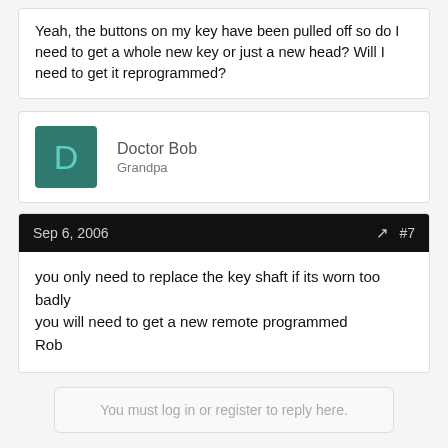Yeah, the buttons on my key have been pulled off so do I need to get a whole new key or just a new head? Will I need to get it reprogrammed?
Doctor Bob
Grandpa
Sep 6, 2006  #7
you only need to replace the key shaft if its worn too badly
you will need to get a new remote programmed
Rob
You must log in or register to reply here.